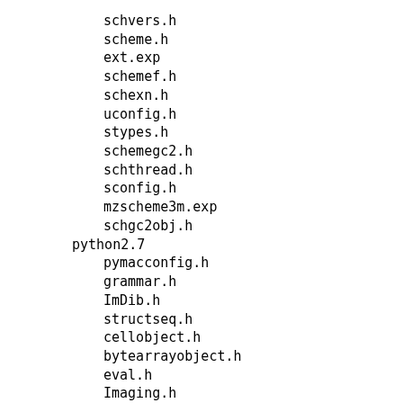schvers.h
scheme.h
ext.exp
schemef.h
schexn.h
uconfig.h
stypes.h
schemegc2.h
schthread.h
sconfig.h
mzscheme3m.exp
schgc2obj.h
python2.7
pymacconfig.h
grammar.h
ImDib.h
structseq.h
cellobject.h
bytearrayobject.h
eval.h
Imaging.h
marshal.h